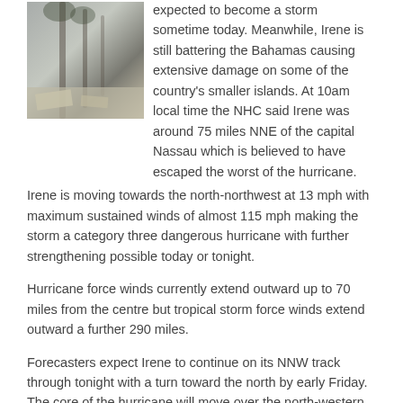[Figure (photo): Photo of flooded or storm-damaged area with palm trees and debris, in grey/muted tones.]
expected to become a storm sometime today. Meanwhile, Irene is still battering the Bahamas causing extensive damage on some of the country's smaller islands. At 10am local time the NHC said Irene was around 75 miles NNE of the capital Nassau which is believed to have escaped the worst of the hurricane. Irene is moving towards the north-northwest at 13 mph with maximum sustained winds of almost 115 mph making the storm a category three dangerous hurricane with further strengthening possible today or tonight.
Hurricane force winds currently extend outward up to 70 miles from the centre but tropical storm force winds extend outward a further 290 miles.
Forecasters expect Irene to continue on its NNW track through tonight with a turn toward the north by early Friday. The core of the hurricane will move over the north-western Bahamas today and pass well offshore of the east coast of central and north Florida tonight and early tomorrow. Irene is forecast to approach the coast of North Carolina on Saturday.
[Figure (infographic): Toolbar with Print, PDF, and Email icon buttons outlined in green.]
Category: Science and Nature